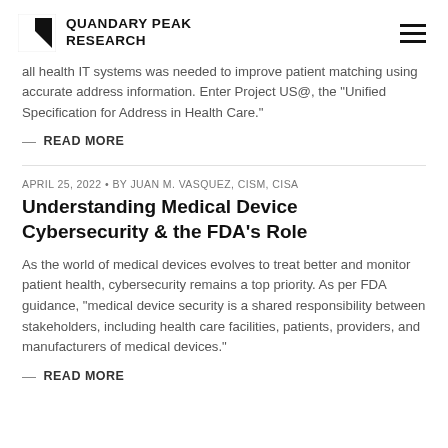QUANDARY PEAK RESEARCH
all health IT systems was needed to improve patient matching using accurate address information. Enter Project US@, the "Unified Specification for Address in Health Care."
— READ MORE
APRIL 25, 2022 • BY JUAN M. VASQUEZ, CISM, CISA
Understanding Medical Device Cybersecurity & the FDA's Role
As the world of medical devices evolves to treat better and monitor patient health, cybersecurity remains a top priority. As per FDA guidance, "medical device security is a shared responsibility between stakeholders, including health care facilities, patients, providers, and manufacturers of medical devices."
— READ MORE